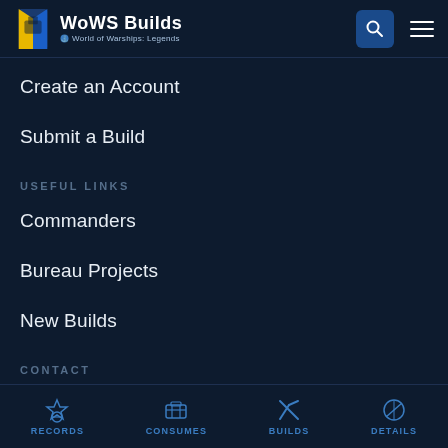WoWS Builds — World of Warships: Legends
Create an Account
Submit a Build
USEFUL LINKS
Commanders
Bureau Projects
New Builds
CONTACT
mundy@wowsbuilds.com
RECORDS   CONSUMES   BUILDS   DETAILS